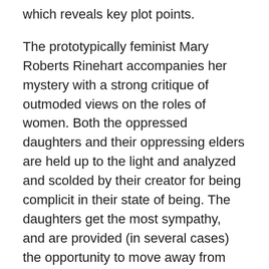which reveals key plot points.
The prototypically feminist Mary Roberts Rinehart accompanies her mystery with a strong critique of outmoded views on the roles of women. Both the oppressed daughters and their oppressing elders are held up to the light and analyzed and scolded by their creator for being complicit in their state of being. The daughters get the most sympathy, and are provided (in several cases) the opportunity to move away from their oppression into the light of the modern world; there is no question as to what the author thinks her characters should be doing with their lives.
The novel's main fault (like this review!) is that it was ultimately just a bit too long. It took forever to get through, and I kept having to set it down because the sheer